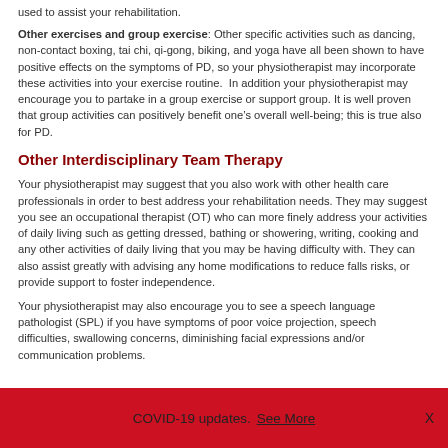used to assist your rehabilitation.
Other exercises and group exercise: Other specific activities such as dancing, non-contact boxing, tai chi, qi-gong, biking, and yoga have all been shown to have positive effects on the symptoms of PD, so your physiotherapist may incorporate these activities into your exercise routine. In addition your physiotherapist may encourage you to partake in a group exercise or support group. It is well proven that group activities can positively benefit one's overall well-being; this is true also for PD.
Other Interdisciplinary Team Therapy
Your physiotherapist may suggest that you also work with other health care professionals in order to best address your rehabilitation needs. They may suggest you see an occupational therapist (OT) who can more finely address your activities of daily living such as getting dressed, bathing or showering, writing, cooking and any other activities of daily living that you may be having difficulty with. They can also assist greatly with advising any home modifications to reduce falls risks, or provide support to foster independence.
Your physiotherapist may also encourage you to see a speech language pathologist (SPL) if you have symptoms of poor voice projection, speech difficulties, swallowing concerns, diminishing facial expressions and/or communication problems.
COVID-19 updates. See More X